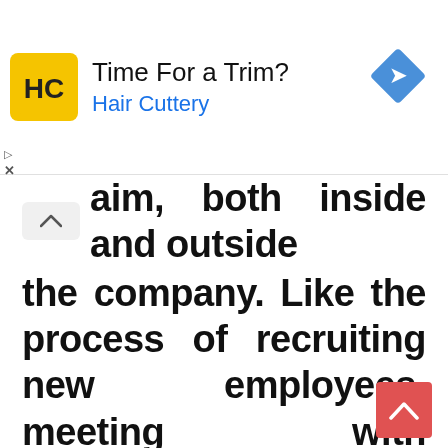[Figure (other): Hair Cuttery advertisement banner with yellow logo, 'Time For a Trim?' heading, 'Hair Cuttery' subtitle in blue, and a blue navigation diamond icon on the right.]
aim, both inside and outside the company. Like the process of recruiting new employees, meeting with customers, ordering supplies and directing the government regarding various regulations. Because digital business can